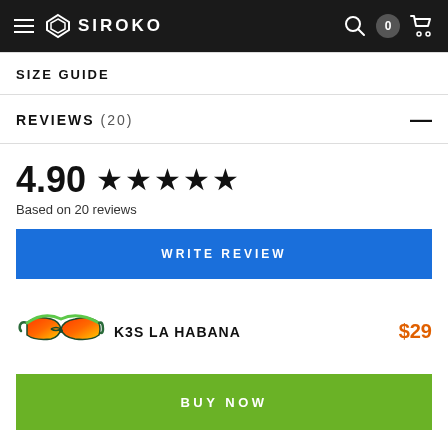SIROKO
SIZE GUIDE
REVIEWS (20)
4.90 ★★★★★
Based on 20 reviews
WRITE REVIEW
[Figure (photo): Siroko K3S La Habana sunglasses product image]
K3S LA HABANA  $29
BUY NOW